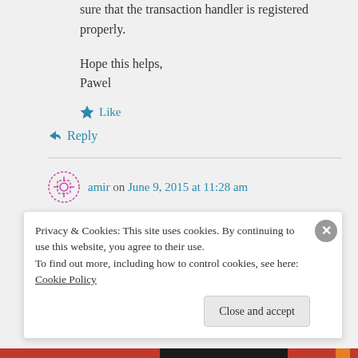sure that the transaction handler is registered properly.
Hope this helps,
Pawel
★ Like
↪ Reply
amir on June 9, 2015 at 11:28 am
Privacy & Cookies: This site uses cookies. By continuing to use this website, you agree to their use.
To find out more, including how to control cookies, see here: Cookie Policy
Close and accept